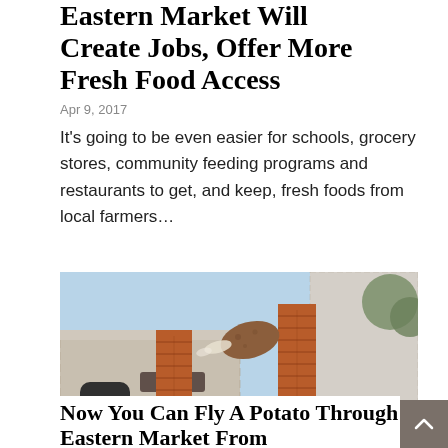Eastern Market Will Create Jobs, Offer More Fresh Food Access
Apr 9, 2017
It's going to be even easier for schools, grocery stores, community feeding programs and restaurants to get, and keep, fresh foods from local farmers…
[Figure (photo): Illustration/photo of Eastern Market building with brick columns and a cartoon potato flying through the air]
Now You Can Fly A Potato Through Eastern Market From